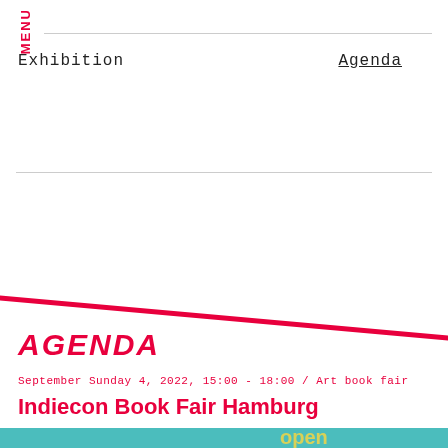MENU
Exhibition    Agenda
[Figure (other): Diagonal red/pink line decorative element slanting from left to right across the page]
AGENDA
September Sunday 4, 2022, 15:00 - 18:00 / Art book fair
Indiecon Book Fair Hamburg
[Figure (photo): Partial photo showing teal/cyan colored background with large stylized text, appears to be event signage or artwork]